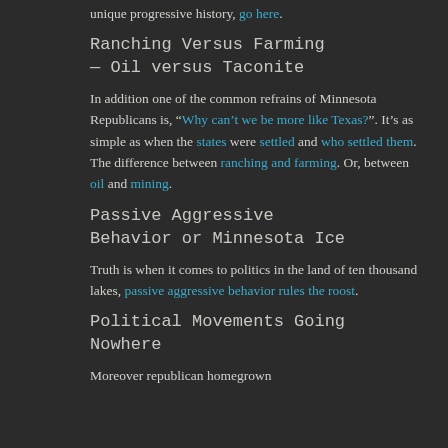unique progressive history, go here.
Ranching Versus Farming — Oil versus Taconite
In addition one of the common refrains of Minnesota Republicans is, “Why can’t we be more like Texas?”. It’s as simple as when the states were settled and who settled them. The difference between ranching and farming. Or, between oil and mining.
Passive Aggressive Behavior or Minnesota Ice
Truth is when it comes to politics in the land of ten thousand lakes, passive aggressive behavior rules the roost.
Political Movements Going Nowhere
Moreover republican homegrown